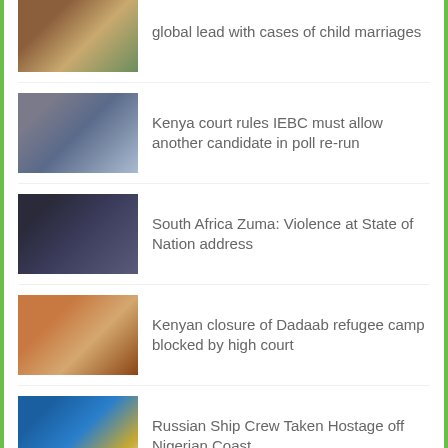global lead with cases of child marriages
Kenya court rules IEBC must allow another candidate in poll re-run
South Africa Zuma: Violence at State of Nation address
Kenyan closure of Dadaab refugee camp blocked by high court
Russian Ship Crew Taken Hostage off Nigerian Coast
Boko Haram-fuelled famine threatens